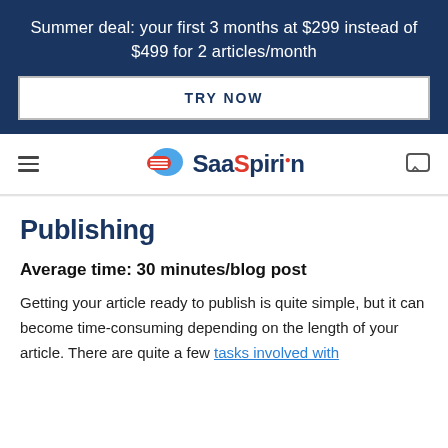Summer deal: your first 3 months at $299 instead of $499 for 2 articles/month
TRY NOW
[Figure (logo): SaaSpirin logo with speech bubble icon containing horizontal lines, and brand name 'SaaSpirin']
Publishing
Average time: 30 minutes/blog post
Getting your article ready to publish is quite simple, but it can become time-consuming depending on the length of your article. There are quite a few tasks involved with publishing a post.